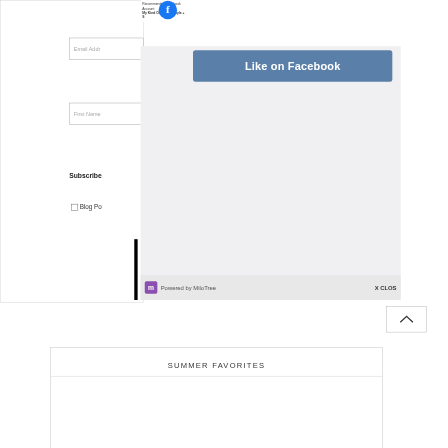Email Addr
First Name
Subscribe
Blog Po
[Figure (screenshot): MiloTree Facebook popup overlay showing a 'Recommended Facebook Account' prompt with a Facebook logo, the text 'My Kind Of Sweet - Style + S', a 'Like on Facebook' blue button, and a 'Powered by MiloTree' footer with an X CLOSE option.]
SUMMER FAVORITES